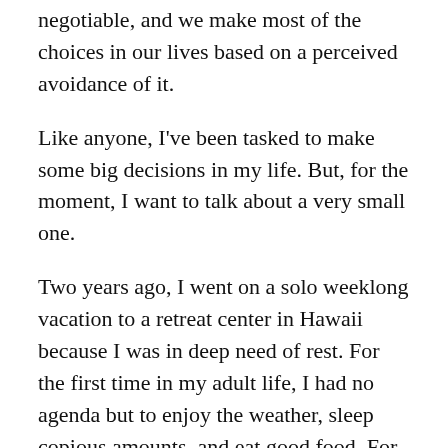negotiable, and we make most of the choices in our lives based on a perceived avoidance of it.
Like anyone, I've been tasked to make some big decisions in my life. But, for the moment, I want to talk about a very small one.
Two years ago, I went on a solo weeklong vacation to a retreat center in Hawaii because I was in deep need of rest. For the first time in my adult life, I had no agenda but to enjoy the weather, sleep copious amounts, and eat good food. For the first 6 days, I faithfully toted around a worn copy of Alan Watts' This is It from the dining room to the poolside, and read about the perfection of imperfection in between chowing on farm-to-table lasagna, petting stray kittens, and lazily paddling around in the pool. I didn't talk to anyone because I had